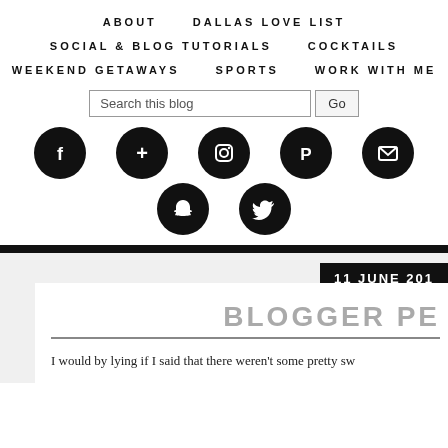ABOUT | DALLAS LOVE LIST | SOCIAL & BLOG TUTORIALS | COCKTAILS | WEEKEND GETAWAYS | SPORTS | WORK WITH ME
[Figure (screenshot): Blog navigation menu with social media icons (Facebook, Google+, Instagram, Pinterest, Email, Snapchat, Twitter) and a search bar]
11 JUNE 201
BLOGGER PE
I would by lying if I said that there weren't some pretty sw